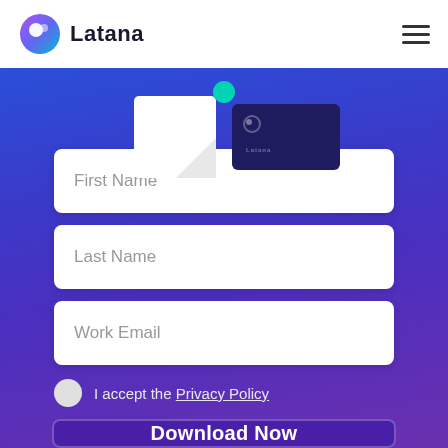[Figure (logo): Latana logo with circular gradient icon and bold text 'Latana']
[Figure (screenshot): Preview of a Latana branded document/report card with white corner piece, teal dot, and dark purple mini-card with Latana logo]
First Name
Last Name
Work Email
I accept the Privacy Policy
Download Now